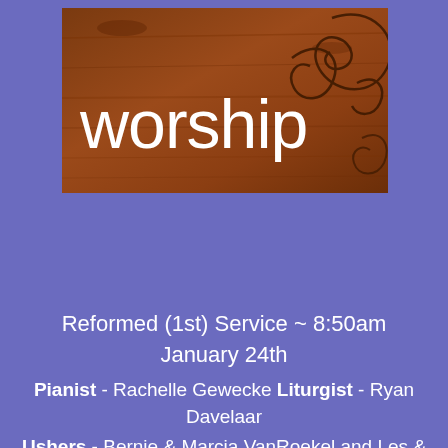[Figure (illustration): Brown wooden textured banner with swirl decorations and the word 'worship' in white lowercase text]
Reformed (1st) Service ~ 8:50am
January 24th
Pianist - Rachelle Gewecke  Liturgist - Ryan Davelaar
Ushers - Bernie & Marcia VanRoekel and Les & Marlene Noll
Greeter - Jim & Jen Watts
Video Taping - Wes Farmer